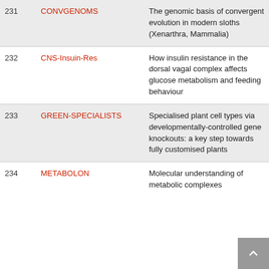| # | Code | Description |
| --- | --- | --- |
| 231 | CONVGENOMS | The genomic basis of convergent evolution in modern sloths (Xenarthra, Mammalia) |
| 232 | CNS-Insuin-Res | How insulin resistance in the dorsal vagal complex affects glucose metabolism and feeding behaviour |
| 233 | GREEN-SPECIALISTS | Specialised plant cell types via developmentally-controlled gene knockouts: a key step towards fully customised plants |
| 234 | METABOLON | Molecular understanding of metabolic complexes |